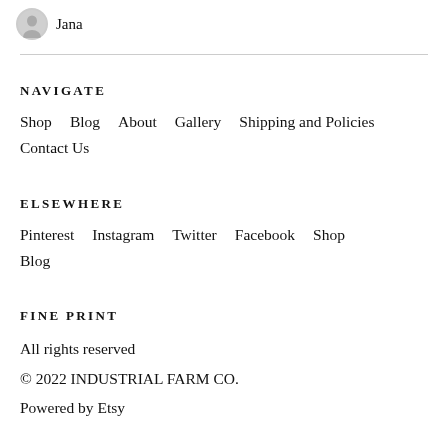Jana
NAVIGATE
Shop   Blog   About   Gallery   Shipping and Policies   Contact Us
ELSEWHERE
Pinterest   Instagram   Twitter   Facebook   Shop   Blog
FINE PRINT
All rights reserved
© 2022 INDUSTRIAL FARM CO.
Powered by Etsy